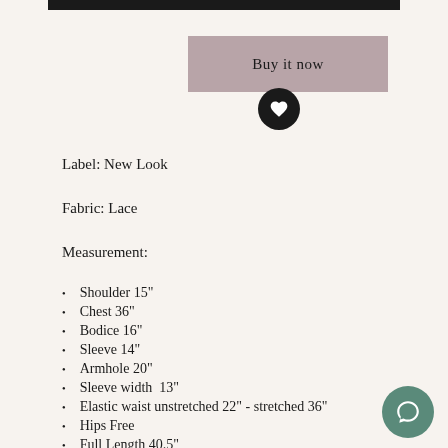[Figure (other): Black bar at top (partial product image crop)]
[Figure (other): Buy it now button with mauve/pink background]
[Figure (other): Black circular button with white heart icon (wishlist)]
Label: New Look
Fabric: Lace
Measurement:
Shoulder 15"
Chest 36"
Bodice 16"
Sleeve 14"
Armhole 20"
Sleeve width  13"
Elastic waist unstretched 22" - stretched 36"
Hips Free
Full Length 40.5"
[Figure (other): Green circular chat/messenger icon button at bottom right]